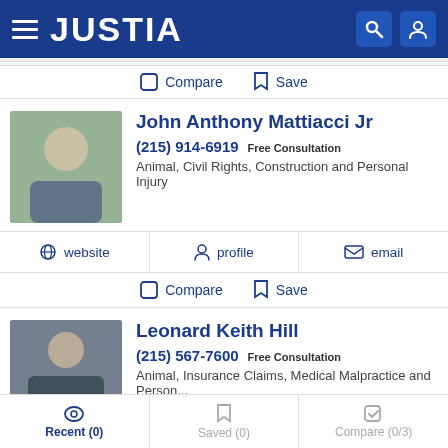JUSTIA
Compare  Save
John Anthony Mattiacci Jr
(215) 914-6919 Free Consultation
Animal, Civil Rights, Construction and Personal Injury
website  profile  email
Compare  Save
Leonard Keith Hill
(215) 567-7600 Free Consultation
Animal, Insurance Claims, Medical Malpractice and Person...
Recent (0)  Saved (0)  Compare (0/3)